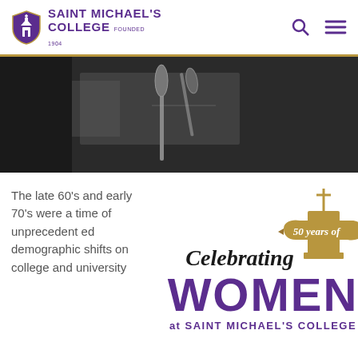Saint Michael's College Founded 1904
[Figure (photo): Grayscale photo showing microphones at a podium or speaking event]
The late 60's and early 70's were a time of unprecedented demographic shifts on college and university
[Figure (logo): Celebrating 50 years of WOMEN at Saint Michael's College - decorative logo with church tower illustration in gold and purple]